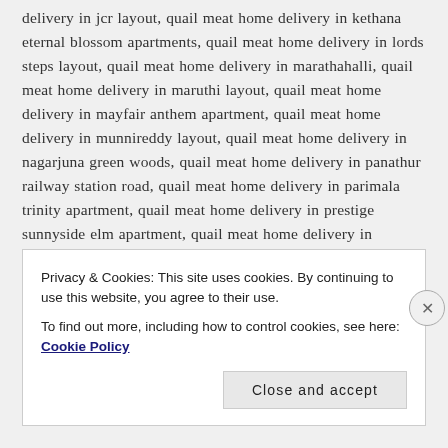delivery in jcr layout, quail meat home delivery in kethana eternal blossom apartments, quail meat home delivery in lords steps layout, quail meat home delivery in marathahalli, quail meat home delivery in maruthi layout, quail meat home delivery in mayfair anthem apartment, quail meat home delivery in munnireddy layout, quail meat home delivery in nagarjuna green woods, quail meat home delivery in panathur railway station road, quail meat home delivery in parimala trinity apartment, quail meat home delivery in prestige sunnyside elm apartment, quail meat home delivery in prestige sunnyside oak apartment, quail meat home delivery in sanjay nagar - marathahalli, quail meat home delivery in saveria winston apartment, quail meat home delivery in
Privacy & Cookies: This site uses cookies. By continuing to use this website, you agree to their use.
To find out more, including how to control cookies, see here: Cookie Policy
Close and accept